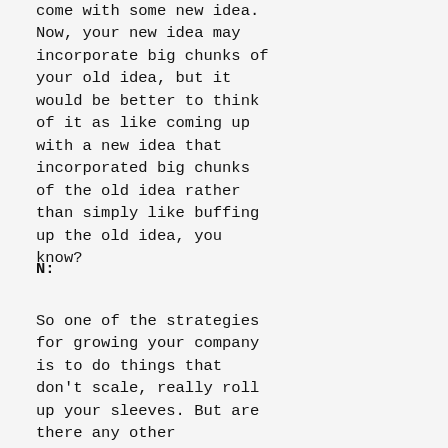come with some new idea. Now, your new idea may incorporate big chunks of your old idea, but it would be better to think of it as like coming up with a new idea that incorporated big chunks of the old idea rather than simply like buffing up the old idea, you know?
N:
So one of the strategies for growing your company is to do things that don't scale, really roll up your sleeves. But are there any other strategies or patterns that one can employ for, basically identifying these growth hacks?